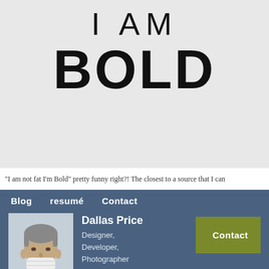I AM BOLD
"I am not fat I'm Bold" pretty funny right?! The closest to a source that I can
Blog  resumé  Contact
[Figure (photo): Headshot photo of Dallas Price wearing a face mask]
Dallas Price
Designer,
Developer,
Photographer
Contact